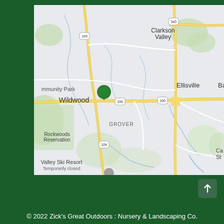[Figure (map): Google Maps screenshot showing Wildwood, Ellisville, Grover, Clarkson Valley area in Missouri with route 100, 109, 340 marked. Shows Rockwoods Reservation, Valley Ski Resort, Community Park with green location pin marker. Roads shown in yellow/white on gray background with green vegetation areas.]
© 2022 Zick's Great Outdoors : Nursery & Landscaping Co.